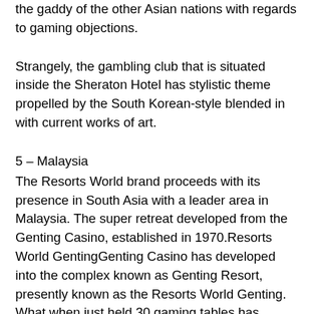the gaddy of the other Asian nations with regards to gaming objections.
Strangely, the gambling club that is situated inside the Sheraton Hotel has stylistic theme propelled by the South Korean-style blended in with current works of art.
5 – Malaysia
The Resorts World brand proceeds with its presence in South Asia with a leader area in Malaysia. The super retreat developed from the Genting Casino, established in 1970.Resorts World GentingGenting Casino has developed into the complex known as Genting Resort, presently known as the Resorts World Genting. What when just held 30 gaming tables has detonated into